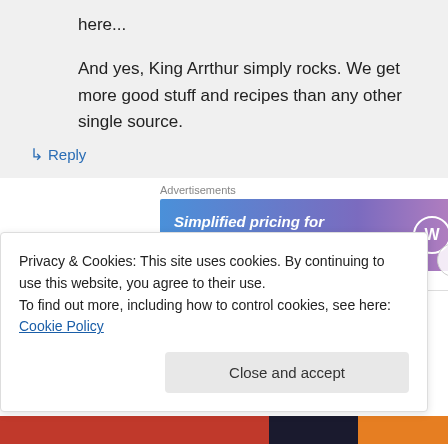here...
And yes, King Arrthur simply rocks. We get more good stuff and recipes than any other single source.
↳ Reply
Advertisements
[Figure (screenshot): WordPress.com advertisement banner: 'Simplified pricing for everything you need.' with WordPress logo on blue-to-pink gradient background]
REPORT THIS AD
Privacy & Cookies: This site uses cookies. By continuing to use this website, you agree to their use.
To find out more, including how to control cookies, see here: Cookie Policy
Close and accept